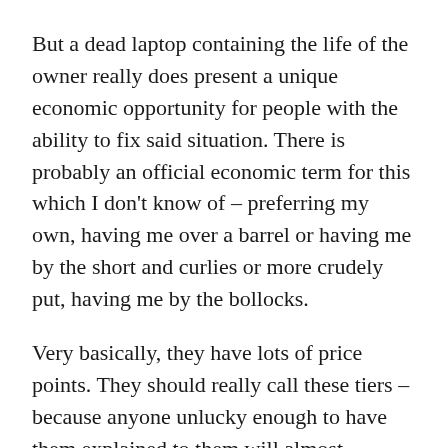But a dead laptop containing the life of the owner really does present a unique economic opportunity for people with the ability to fix said situation. There is probably an official economic term for this which I don't know of – preferring my own, having me over a barrel or having me by the short and curlies or more crudely put, having me by the bollocks.
Very basically, they have lots of price points. They should really call these tiers – because anyone unlucky enough to have them explained to them will almost certainly end up crying.
Tier 1 – with no guarantee of any data being recovered – what data they do recover will be provided to me within 3 weeks – a snip at £1500
If 3 weeks is too long to wait – then can we interest you in